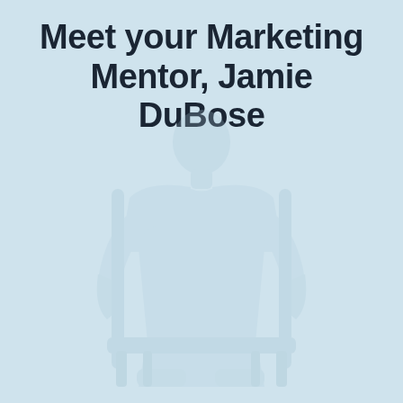Meet your Marketing Mentor, Jamie DuBose
[Figure (photo): Faded/washed-out photograph of a person (Jamie DuBose) sitting, rendered with very low opacity against the light blue background]